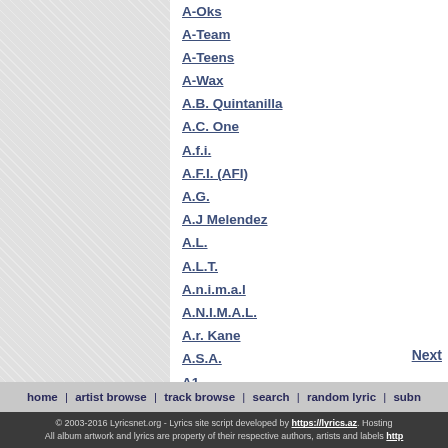A-Oks
A-Team
A-Teens
A-Wax
A.B. Quintanilla
A.C. One
A.f.i.
A.F.I. (AFI)
A.G.
A.J Melendez
A.L.
A.L.T.
A.n.i.m.a.l
A.N.I.M.A.L.
A.r. Kane
A.S.A.
A1
A3
Aaliyah
AALIYAH (f/ Jay-Z)
Aaliyah F/ DMX
Next
home | artist browse | track browse | search | random lyric | subm
© 2003-2016 Lyricsnet.org - Lyrics site script developed by https://lyrics.az. Hosting All album artwork and lyrics are property of their respective authors, artists and labels http